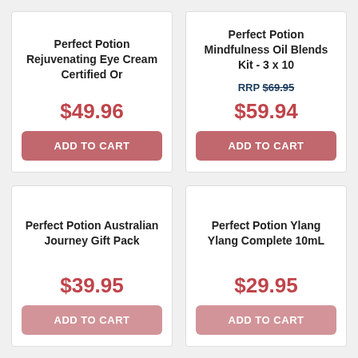Perfect Potion Rejuvenating Eye Cream Certified Or
$49.96
ADD TO CART
Perfect Potion Mindfulness Oil Blends Kit - 3 x 10
RRP $69.95
$59.94
ADD TO CART
Perfect Potion Australian Journey Gift Pack
$39.95
ADD TO CART
Perfect Potion Ylang Ylang Complete 10mL
$29.95
ADD TO CART